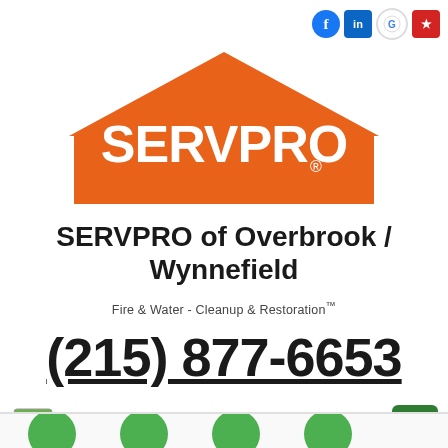[Figure (logo): Social media icons: Facebook (blue circle), LinkedIn (blue square), Google My Business (white circle), Yelp (red square) arranged in a row at top right]
[Figure (logo): SERVPRO logo: orange house/roof shape with 'SERVPRO.' text in white bold letters inside]
SERVPRO of Overbrook / Wynnefield
Fire & Water - Cleanup & Restoration™
(215) 877-6653
[Figure (infographic): Request Help Online button with green computer monitor icon, orange 'REQUEST HELP' text, 'ONLINE' subtitle, and green menu button on right]
[Figure (infographic): Bottom strip with four green circle icons partially visible]